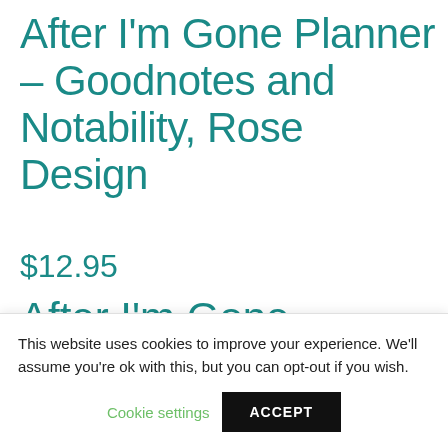After I'm Gone Planner – Goodnotes and Notability, Rose Design
$12.95
After I'm Gone Planner.
A planner to organize your assets and
This website uses cookies to improve your experience. We'll assume you're ok with this, but you can opt-out if you wish.
Cookie settings  ACCEPT